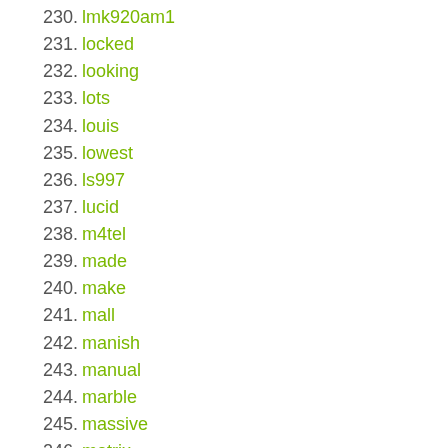230. lmk920am1
231. locked
232. looking
233. lots
234. louis
235. lowest
236. ls997
237. lucid
238. m4tel
239. made
240. make
241. mall
242. manish
243. manual
244. marble
245. massive
246. matrix
247. maxwest
248. meet
249. mega
250. memory
251. metro
252. micro